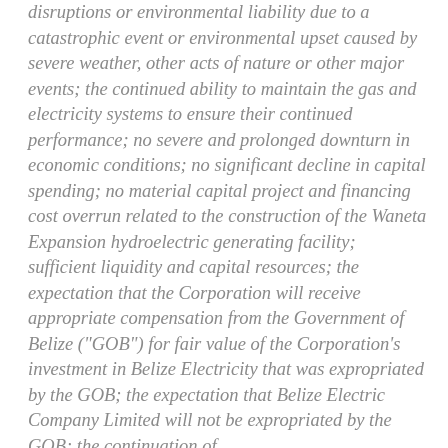disruptions or environmental liability due to a catastrophic event or environmental upset caused by severe weather, other acts of nature or other major events; the continued ability to maintain the gas and electricity systems to ensure their continued performance; no severe and prolonged downturn in economic conditions; no significant decline in capital spending; no material capital project and financing cost overrun related to the construction of the Waneta Expansion hydroelectric generating facility; sufficient liquidity and capital resources; the expectation that the Corporation will receive appropriate compensation from the Government of Belize ("GOB") for fair value of the Corporation's investment in Belize Electricity that was expropriated by the GOB; the expectation that Belize Electric Company Limited will not be expropriated by the GOB; the continuation of